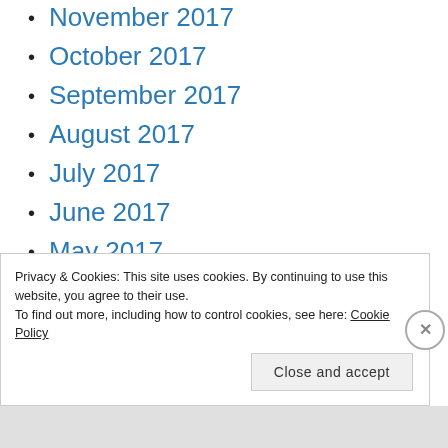November 2017
October 2017
September 2017
August 2017
July 2017
June 2017
May 2017
April 2017
Privacy & Cookies: This site uses cookies. By continuing to use this website, you agree to their use.
To find out more, including how to control cookies, see here: Cookie Policy
Close and accept